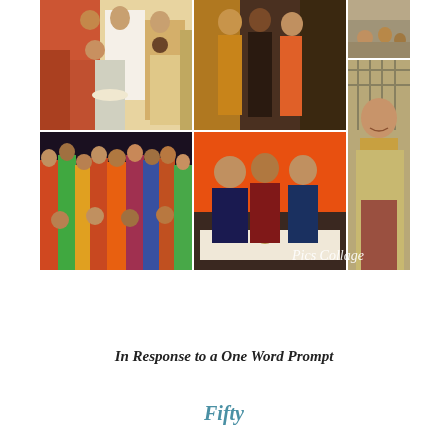[Figure (photo): A photo collage made with Pics Collage app showing 5 photos arranged in a grid: top-left shows women in Indian attire at a gathering holding plates, top-middle shows three people in traditional Indian formal wear posing together, top-right shows a small outdoor group photo, right column shows a young woman smiling in a blazer and sari, bottom-left shows a large colorful group of people in Indian festive clothes, bottom-middle shows three women sitting together at a table with drinks. Watermark 'Pics Collage' in white italic text at bottom-right.]
In Response to a One Word Prompt
Fifty